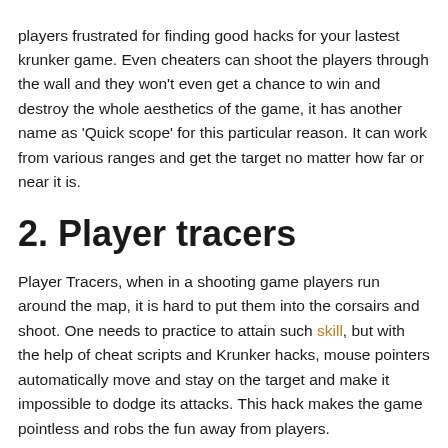players frustrated for finding good hacks for your lastest krunker game. Even cheaters can shoot the players through the wall and they won't even get a chance to win and destroy the whole aesthetics of the game, it has another name as 'Quick scope' for this particular reason. It can work from various ranges and get the target no matter how far or near it is.
2. Player tracers
Player Tracers, when in a shooting game players run around the map, it is hard to put them into the corsairs and shoot. One needs to practice to attain such skill, but with the help of cheat scripts and Krunker hacks, mouse pointers automatically move and stay on the target and make it impossible to dodge its attacks. This hack makes the game pointless and robs the fun away from players.